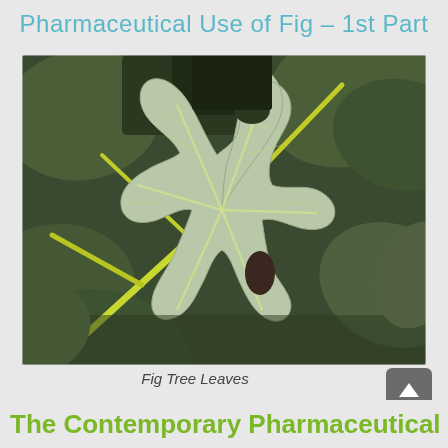Pharmaceutical Use of Fig – 1st Part
[Figure (photo): Close-up photograph of fig tree leaves (Ficus carica), showing a large lobed leaf in the foreground with characteristic veining, against a background of other fig leaves. The leaves appear silvery-green. The leaf has an irregular lobed shape and shows some insect damage holes.]
Fig Tree Leaves
The Contemporary Pharmaceutical